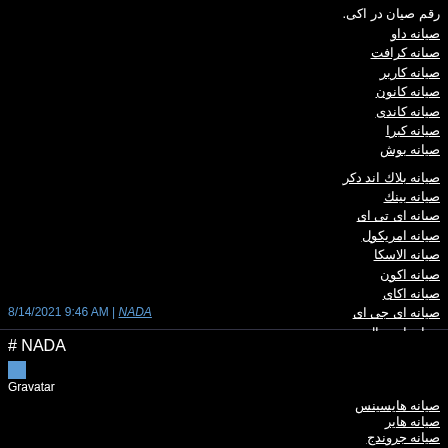رقم صیان در اکی.
صیانه داو
صیانه کرافت
صیانه کاربر
صیانه کانون
صیانه کاندی
صیانه کبرا
صیانه بوش
صیانه بلاك اند دکر
صیانه بینك
صیانه ای تی ای
صیانه امریکول
صیانه الاسکا
صیانه اکون
صیانه اکای
صیانه ای جی ای
صیانه ادمیرال
8/14/2021 9:46 AM | NADA
# NADA
Gravatar
صیانه هایسینس
صیانه هایر
صیانه جروندج